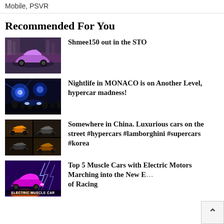Mobile, PSVR
Recommended For You
Shmee150 out in the STO
Nightlife in MONACO is on Another Level, hypercar madness!
Somewhere in China. Luxurious cars on the street #hypercars #lamborghini #supercars #korea
Top 5 Muscle Cars with Electric Motors Marching into the New Era of Racing